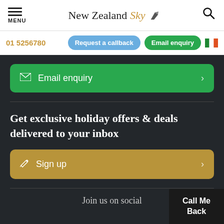MENU | New Zealand Sky | Search
01 5256780
Request a callback | Email enquiry
Email enquiry
Get exclusive holiday offers & deals delivered to your inbox
Sign up
Join us on social
Call Me Back